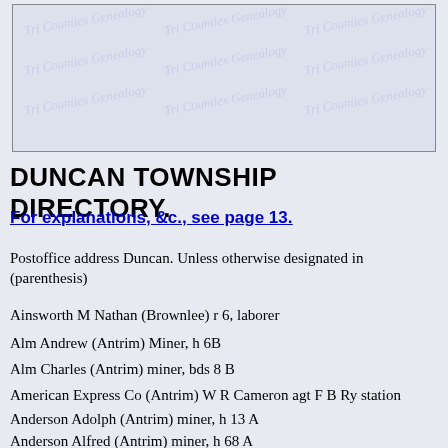[Figure (other): Scanned image area with watermark pattern showing 'Tri Counties Genealogy' repeated diagonally on light blue-grey background, bordered by a rectangle.]
DUNCAN TOWNSHIP DIRECTORY.
For explanations, &c., see page 13.
Postoffice address Duncan. Unless otherwise designated in (parenthesis)
Ainsworth M Nathan (Brownlee) r 6, laborer
Alm Andrew (Antrim) Miner, h 6B
Alm Charles (Antrim) miner, bds 8 B
American Express Co (Antrim) W R Cameron agt F B Ry station
Anderson Adolph (Antrim) miner, h 13 A
Anderson Alfred (Antrim) miner, h 68 A